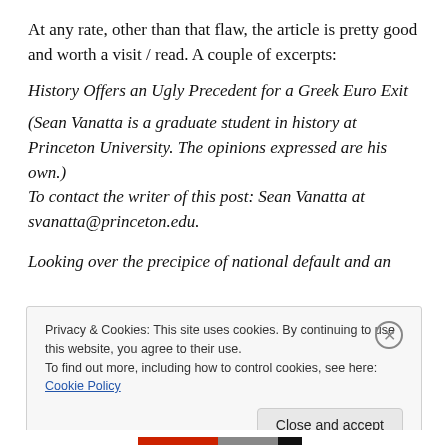At any rate, other than that flaw, the article is pretty good and worth a visit / read. A couple of excerpts:
History Offers an Ugly Precedent for a Greek Euro Exit
(Sean Vanatta is a graduate student in history at Princeton University. The opinions expressed are his own.) To contact the writer of this post: Sean Vanatta at svanatta@princeton.edu.
Looking over the precipice of national default and an
Privacy & Cookies: This site uses cookies. By continuing to use this website, you agree to their use.
To find out more, including how to control cookies, see here: Cookie Policy
Close and accept